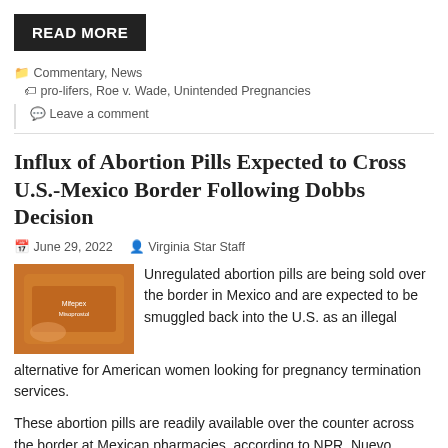READ MORE
Commentary, News   pro-lifers, Roe v. Wade, Unintended Pregnancies
Leave a comment
Influx of Abortion Pills Expected to Cross U.S.-Mexico Border Following Dobbs Decision
June 29, 2022   Virginia Star Staff
[Figure (photo): Hands holding an orange box of abortion pills (Mipepex/Misoprostol)]
Unregulated abortion pills are being sold over the border in Mexico and are expected to be smuggled back into the U.S. as an illegal alternative for American women looking for pregnancy termination services.
These abortion pills are readily available over the counter across the border at Mexican pharmacies, according to NPR. Nuevo Progreso is located less than half a mile from the U.S.